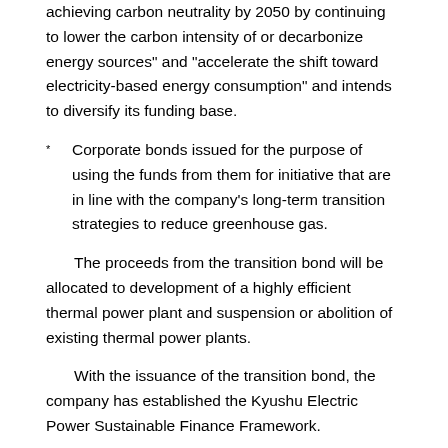achieving carbon neutrality by 2050 by continuing to lower the carbon intensity of or decarbonize energy sources" and "accelerate the shift toward electricity-based energy consumption" and intends to diversify its funding base.
* Corporate bonds issued for the purpose of using the funds from them for initiative that are in line with the company's long-term transition strategies to reduce greenhouse gas.
The proceeds from the transition bond will be allocated to development of a highly efficient thermal power plant and suspension or abolition of existing thermal power plants.
With the issuance of the transition bond, the company has established the Kyushu Electric Power Sustainable Finance Framework.
DNV Business Assurance Japan K.K., a third-party evaluation organization, has evaluated and verified eligibility of the framework to various standards related to green, transition and sustainability-